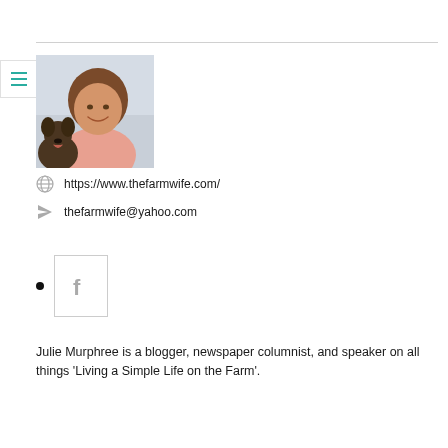[Figure (photo): Portrait photo of Julie Murphree smiling and holding a dog, outdoors against a light-colored wall]
https://www.thefarmwife.com/
thefarmwife@yahoo.com
[Figure (logo): Facebook logo icon inside a bordered box with a bullet point to its left]
Julie Murphree is a blogger, newspaper columnist, and speaker on all things 'Living a Simple Life on the Farm'.